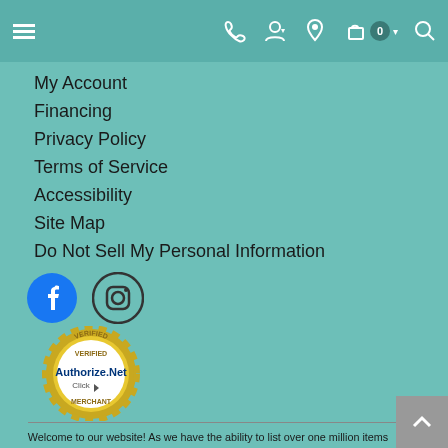Navigation bar with hamburger menu, phone, account, location, cart (0), and search icons
My Account
Financing
Privacy Policy
Terms of Service
Accessibility
Site Map
Do Not Sell My Personal Information
[Figure (logo): Facebook and Instagram social media icons]
[Figure (logo): Authorize.Net Verified Merchant seal badge]
Welcome to our website! As we have the ability to list over one million items on our website (our selection changes all of the time), it is not feasible for a company our size to record and playback the descriptions on every item on our website. However, if you have a disability we are here to help you. Please call our disability services phone line at 864-229-4012 during regular business hours and one of our kind and friendly personal shoppers will help you navigate